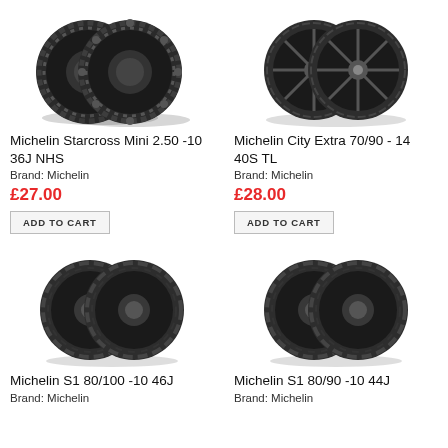[Figure (photo): Two Michelin Starcross Mini off-road motorcycle tires, knobby tread pattern, shown side by side]
Michelin Starcross Mini 2.50 -10 36J NHS
Brand: Michelin
£27.00
ADD TO CART
[Figure (photo): Two Michelin City Extra scooter tires with spoked-style wheel visible, road tread pattern, shown side by side]
Michelin City Extra 70/90 - 14 40S TL
Brand: Michelin
£28.00
ADD TO CART
[Figure (photo): Two Michelin S1 scooter tires with chevron tread pattern, shown side by side]
Michelin S1 80/100 -10 46J
Brand: Michelin
[Figure (photo): Two Michelin S1 scooter tires with chevron tread pattern, slightly different size, shown side by side]
Michelin S1 80/90 -10 44J
Brand: Michelin